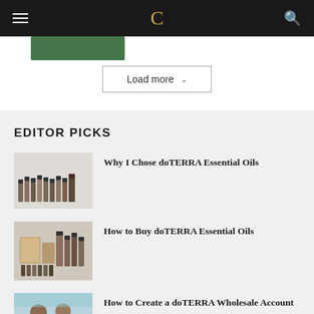C
[Figure (screenshot): Partial green button/image strip at top]
Load more
EDITOR PICKS
[Figure (photo): Row of doTERRA essential oil bottles]
Why I Chose doTERRA Essential Oils
[Figure (photo): doTERRA product collection with boxes and bottles]
How to Buy doTERRA Essential Oils
[Figure (photo): doTERRA wholesale account related image]
How to Create a doTERRA Wholesale Account